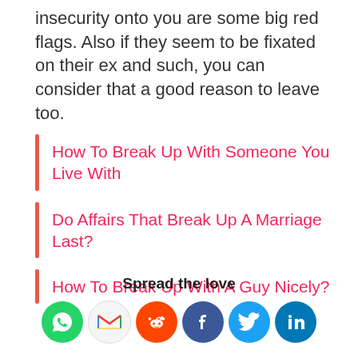insecurity onto you are some big red flags. Also if they seem to be fixated on their ex and such, you can consider that a good reason to leave too.
How To Break Up With Someone You Live With
Do Affairs That Break Up A Marriage Last?
How To Break Up With A Guy Nicely?
Spread the love